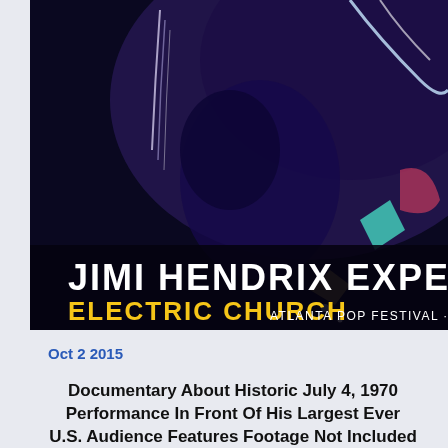[Figure (photo): Dark concert photo of Jimi Hendrix performing, with text overlay reading 'JIMI HENDRIX EXPERIENCE ELECTRIC CHURCH ATLANTA POP FESTIVAL · JUL...' in white and yellow bold text on dark background]
Oct 2 2015
Documentary About Historic July 4, 1970 Performance In Front Of His Largest Ever U.S. Audience Features Footage Not Included in...